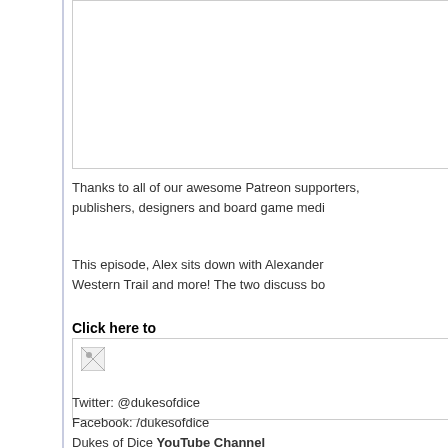[Figure (other): Image box at top, partially visible, bordered rectangle]
Thanks to all of our awesome Patreon supporters, publishers, designers and board game medi
This episode, Alex sits down with Alexander Western Trail and more! The two discuss bo
Click here to
[Figure (other): Image box with broken image icon]
Twitter: @dukesofdice
Facebook: /dukesofdice
Dukes of Dice YouTube Channel
Subscribe on iTunes